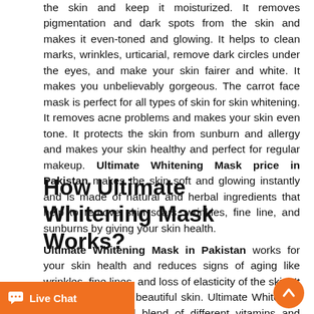the skin and keep it moisturized. It removes pigmentation and dark spots from the skin and makes it even-toned and glowing. It helps to clean marks, wrinkles, urticarial, remove dark circles under the eyes, and make your skin fairer and white. It makes you unbelievably gorgeous. The carrot face mask is perfect for all types of skin for skin whitening. It removes acne problems and makes your skin even tone. It protects the skin from sunburn and allergy and makes your skin healthy and perfect for regular makeup. Ultimate Whitening Mask price in Pakistan makes the skin soft and glowing instantly and is made of natural and herbal ingredients that help to remove skin scars, wrinkles, fine line, and sunburns by giving your skin health.
How Ultimate Whitening Mask Works?
Ultimate Whitening Mask in Pakistan works for your skin health and reduces signs of aging like wrinkles, fine lines, and loss of elasticity of the skin. It gives you glowing beautiful skin. Ultimate Whitening Mask is a natural blend of different vitamins and minerals. It activates fibroblast that helps to maintain skin elasticity. It keeps the skin hydrated and removes wrinkles. It helps to locks the process of aging and makes you young. antioxidants that protect the skin by reducing the free radicals which damage our skin cells. Carrot